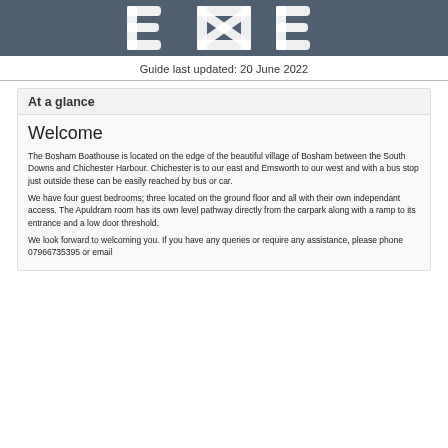[Figure (logo): Bosham Boathouse logo — stylized letters on dark steel-blue background]
Guide last updated: 20 June 2022
At a glance
Welcome
The Bosham Boathouse is located on the edge of the beautiful village of Bosham between the South Downs and Chichester Harbour. Chichester is to our east and Emsworth to our west and with a bus stop just outside these can be easily reached by bus or car.
We have four guest bedrooms; three located on the ground floor and all with their own independant access. The Apuldram room has its own level pathway directly from the carpark along with a ramp to its entrance and a low door threshold.
We look forward to welcoming you. If you have any queries or require any assistance, please phone 07966735395 or email